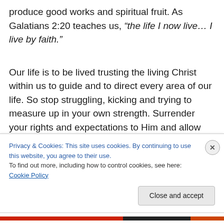produce good works and spiritual fruit. As Galatians 2:20 teaches us, “the life I now live… I live by faith.”
Our life is to be lived trusting the living Christ within us to guide and to direct every area of our life. So stop struggling, kicking and trying to measure up in your own strength. Surrender your rights and expectations to Him and allow Christ to manifest His life through you.
Privacy & Cookies: This site uses cookies. By continuing to use this website, you agree to their use.
To find out more, including how to control cookies, see here: Cookie Policy